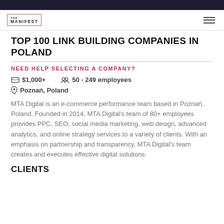[Figure (logo): The Manifest logo with navigation hamburger menu]
TOP 100 LINK BUILDING COMPANIES IN POLAND
NEED HELP SELECTING A COMPANY?
$1,000+   50 - 249 employees   Poznań, Poland
MTA Digital is an e-commerce performance team based in Poznań, Poland. Founded in 2014, MTA Digital's team of 80+ employees provides PPC, SEO, social media marketing, web design, advanced analytics, and online strategy services to a variety of clients. With an emphasis on partnership and transparency, MTA Digital's team creates and executes effective digital solutions.
CLIENTS